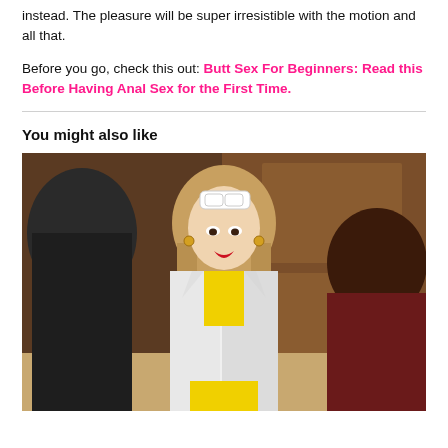instead. The pleasure will be super irresistible with the motion and all that.
Before you go, check this out: Butt Sex For Beginners: Read this Before Having Anal Sex for the First Time.
You might also like
[Figure (photo): A woman with sunglasses on her head, red lipstick, wearing a white blazer over a yellow crop top, standing between two men in an interior setting with wooden furniture.]